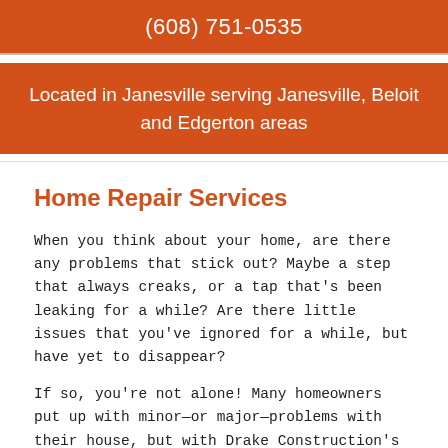(608) 751-0535
Located in Janesville serving Janesville, Beloit and Edgerton areas
Home Repair Services
When you think about your home, are there any problems that stick out? Maybe a step that always creaks, or a tap that's been leaking for a while? Are there little issues that you've ignored for a while, but have yet to disappear?
If so, you're not alone! Many homeowners put up with minor—or major—problems with their house, but with Drake Construction's expert home repair services,